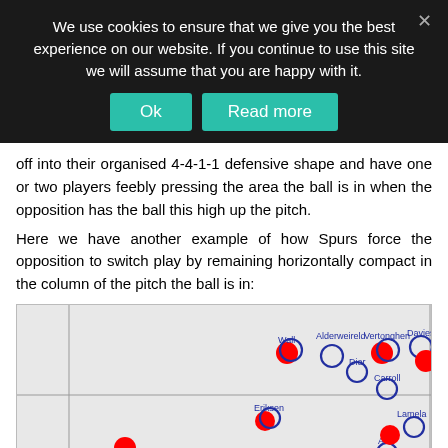We use cookies to ensure that we give you the best experience on our website. If you continue to use this site we will assume that you are happy with it.
off into their organised 4-4-1-1 defensive shape and have one or two players feebly pressing the area the ball is in when the opposition has the ball this high up the pitch.
Here we have another example of how Spurs force the opposition to switch play by remaining horizontally compact in the column of the pitch the ball is in:
[Figure (other): Football tactical diagram showing player positions on a pitch. Players labeled include Wall, Alderweireld, Vertonghen, Davies, Dier, Carroll, Eriksen, Lamela, Alli, Kane. Red filled circles represent one team, white/outlined circles represent Spurs players.]